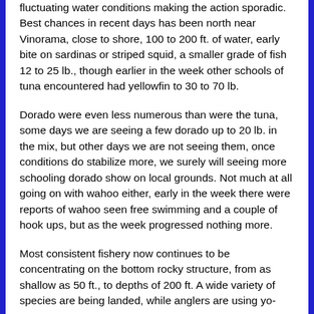fluctuating water conditions making the action sporadic. Best chances in recent days has been north near Vinorama, close to shore, 100 to 200 ft. of water, early bite on sardinas or striped squid, a smaller grade of fish 12 to 25 lb., though earlier in the week other schools of tuna encountered had yellowfin to 30 to 70 lb.
Dorado were even less numerous than were the tuna, some days we are seeing a few dorado up to 20 lb. in the mix, but other days we are not seeing them, once conditions do stabilize more, we surely will seeing more schooling dorado show on local grounds. Not much at all going on with wahoo either, early in the week there were reports of wahoo seen free swimming and a couple of hook ups, but as the week progressed nothing more.
Most consistent fishery now continues to be concentrating on the bottom rocky structure, from as shallow as 50 ft., to depths of 200 ft. A wide variety of species are being landed, while anglers are using yo-